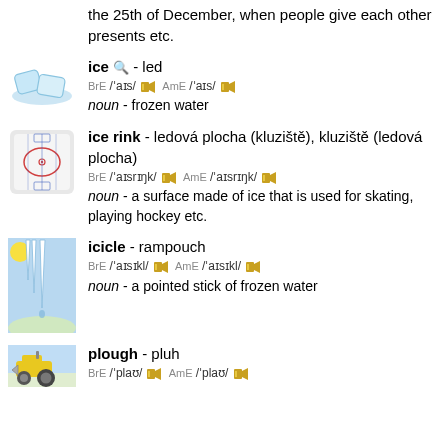the 25th of December, when people give each other presents etc.
ice 🔍 - led
BrE /ˈaɪs/ AmE /ˈaɪs/
noun - frozen water
ice rink - ledová plocha (kluziště), kluziště (ledová plocha)
BrE /ˈaɪsrɪŋk/ AmE /ˈaɪsrɪŋk/
noun - a surface made of ice that is used for skating, playing hockey etc.
icicle - rampouch
BrE /ˈaɪsɪkl/ AmE /ˈaɪsɪkl/
noun - a pointed stick of frozen water
plough - pluh
BrE /ˈplaʊ/ AmE /ˈplaʊ/